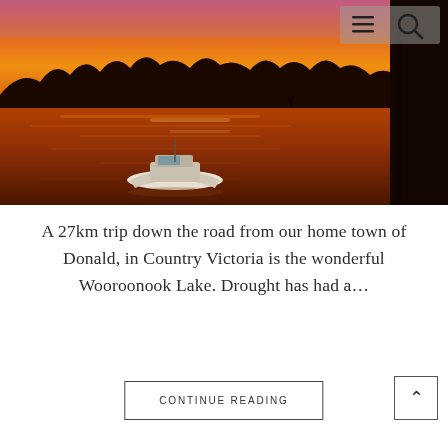[Figure (photo): Sunset over a lake with a white boat on the water and silhouetted trees and a large dark tree trunk on the right. The sky is vivid orange, red, and pink.]
A 27km trip down the road from our home town of Donald, in Country Victoria is the wonderful Wooroonook Lake. Drought has had a…
CONTINUE READING